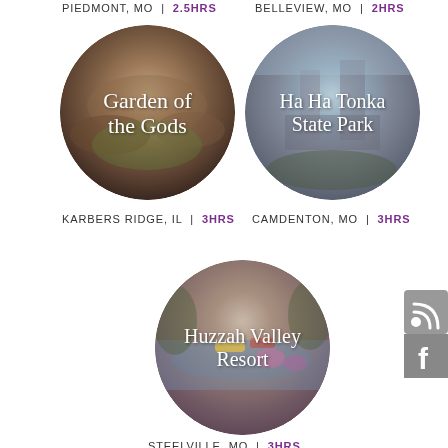PIEDMONT, MO | 2.5HRS
BELLEVIEW, MO | 2HRS
[Figure (photo): Circular photo of Garden of the Gods with aerial rocky landscape, white script text overlay reading 'Garden of the Gods']
[Figure (photo): Circular photo of Ha Ha Tonka State Park castle ruins, white script text overlay reading 'Ha Ha Tonka State Park']
KARBERS RIDGE, IL | 3HRS
CAMDENTON, MO | 3HRS
[Figure (photo): Circular photo of Huzzah Valley Resort with water recreation area, white script text overlay reading 'Huzzah Valley Resort']
STEELVILLE, MO | 3HRS